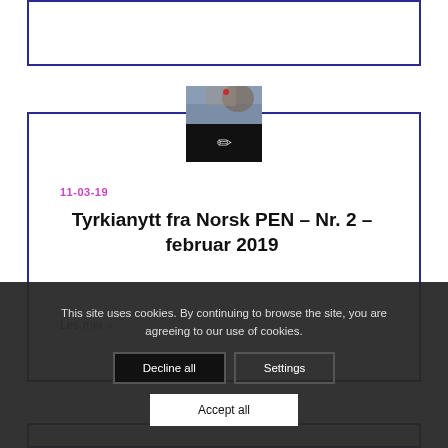[Figure (other): Partial top card with dark blue border, content not visible]
[Figure (photo): Thumbnail image: top half shows a person near water/landscape, bottom half is black with a pencil/edit icon]
11-03-19
Tyrkianytt fra Norsk PEN – Nr. 2 – februar 2019
Les mer »
This site uses cookies. By continuing to browse the site, you are agreeing to our use of cookies.
Decline all
Settings
Accept all
[Figure (other): Bottom card with dark blue border, partially visible at bottom of page]